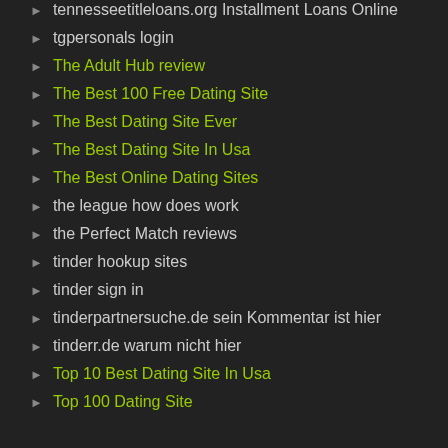tennesseetitleloans.org Installment Loans Online
tgpersonals login
The Adult Hub review
The Best 100 Free Dating Site
The Best Dating Site Ever
The Best Dating Site In Usa
The Best Online Dating Sites
the league how does work
the Perfect Match reviews
tinder hookup sites
tinder sign in
tinderpartnersuche.de sein Kommentar ist hier
tinderr.de warum nicht hier
Top 10 Best Dating Site In Usa
Top 100 Dating Site